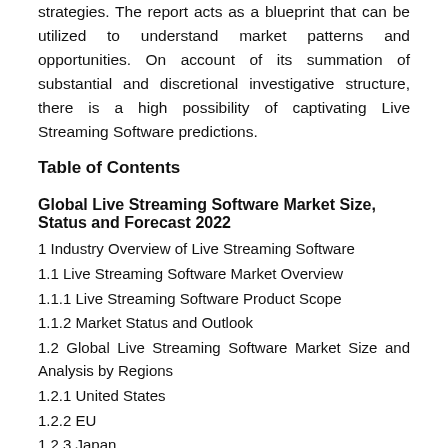strategies. The report acts as a blueprint that can be utilized to understand market patterns and opportunities. On account of its summation of substantial and discretional investigative structure, there is a high possibility of captivating Live Streaming Software predictions.
Table of Contents
Global Live Streaming Software Market Size, Status and Forecast 2022
1 Industry Overview of Live Streaming Software
1.1 Live Streaming Software Market Overview
1.1.1 Live Streaming Software Product Scope
1.1.2 Market Status and Outlook
1.2 Global Live Streaming Software Market Size and Analysis by Regions
1.2.1 United States
1.2.2 EU
1.2.3 Japan